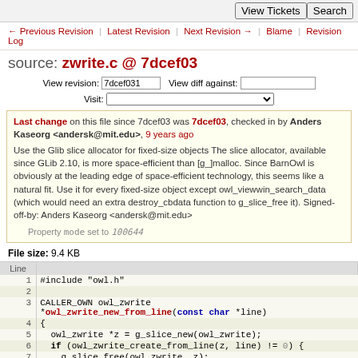View Tickets | Search
← Previous Revision | Latest Revision | Next Revision → | Blame | Revision Log
source: zwrite.c @ 7dcef03
View revision: 7dcef031  View diff against:  Visit:
Last change on this file since 7dcef03 was 7dcef03, checked in by Anders Kaseorg <andersk@mit.edu>, 9 years ago
Use the Glib slice allocator for fixed-size objects The slice allocator, available since GLib 2.10, is more space-efficient than [g_]malloc. Since BarnOwl is obviously at the leading edge of space-efficient technology, this seems like a natural fit. Use it for every fixed-size object except owl_viewwin_search_data (which would need an extra destroy_cbdata function to g_slice_free it). Signed-off-by: Anders Kaseorg <andersk@mit.edu>
Property mode set to 100644
File size: 9.4 KB
| Line |  |
| --- | --- |
| 1 | #include "owl.h" |
| 2 |  |
| 3 | CALLER_OWN owl_zwrite
*owl_zwrite_new_from_line(const char *line) |
| 4 | { |
| 5 |   owl_zwrite *z = g_slice_new(owl_zwrite); |
| 6 |   if (owl_zwrite_create_from_line(z, line) != 0) { |
| 7 |     g_slice_free(owl_zwrite, z); |
| 8 |     return NULL; |
| 9 |   } |
| 10 |   return z; |
| 11 | } |